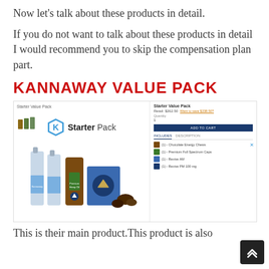Now let's talk about these products in detail.
If you do not want to talk about these products in detail I would recommend you to skip the compensation plan part.
KANNAWAY VALUE PACK
[Figure (screenshot): Screenshot of Kannaway Starter Value Pack product page. Left side shows product image with 'K Starter Pack' logo and bottles/products. Right side shows retail price $262.50, a link 'Want to save $238.50?', quantity field, ADD TO CART button, INCLUDES/DESCRIPTION tabs, and list of included items: (1) Chocolate Energy Chews, (1) Premium Full Spectrum Caps, (1) Revive AM, (1) Revive PM 100 mg.]
This is their main product.This product is also